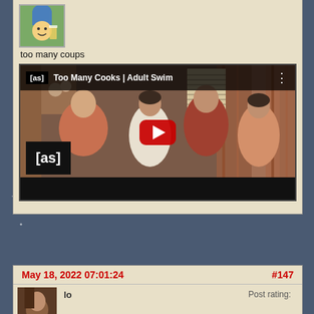[Figure (screenshot): Forum post with user avatar (cartoon character with tall blue hair and beer glass) showing username 'too many coups' and an embedded YouTube video thumbnail for 'Too Many Cooks | Adult Swim' showing a family scene with Adult Swim [as] logo and red play button]
too many coups
[Figure (screenshot): Second forum post header with date May 18, 2022 07:01:24 and post number #147, with username 'lo' and Post rating label]
May 18, 2022 07:01:24
#147
lo
Post rating: